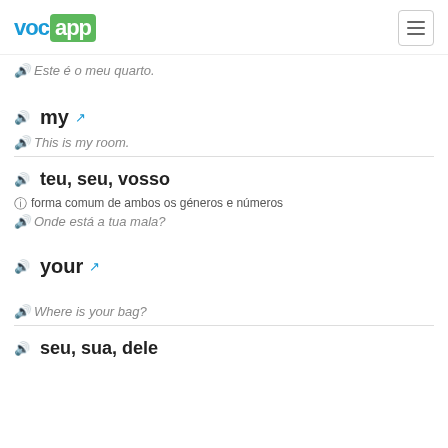VocApp
Este é o meu quarto.
my
This is my room.
teu, seu, vosso
forma comum de ambos os géneros e números
Onde está a tua mala?
your
Where is your bag?
seu, sua, dele